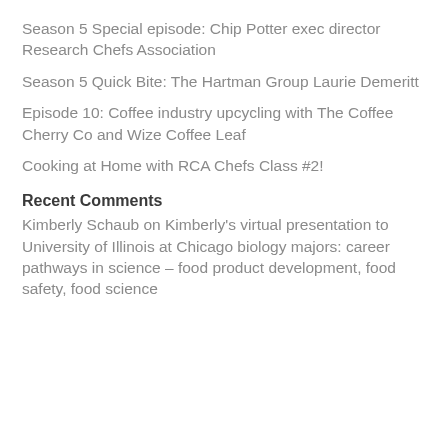Season 5 Special episode: Chip Potter exec director Research Chefs Association
Season 5 Quick Bite: The Hartman Group Laurie Demeritt
Episode 10: Coffee industry upcycling with The Coffee Cherry Co and Wize Coffee Leaf
Cooking at Home with RCA Chefs Class #2!
Recent Comments
Kimberly Schaub on Kimberly's virtual presentation to University of Illinois at Chicago biology majors: career pathways in science – food product development, food safety, food science